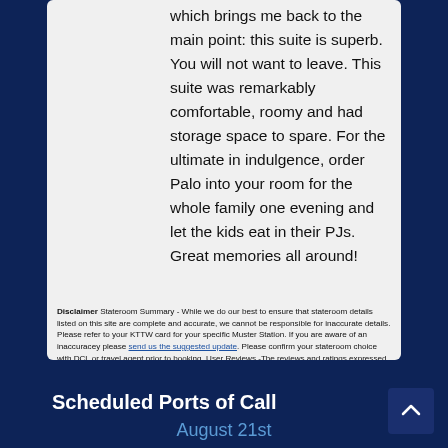which brings me back to the main point: this suite is superb. You will not want to leave. This suite was remarkably comfortable, roomy and had storage space to spare. For the ultimate in indulgence, order Palo into your room for the whole family one evening and let the kids eat in their PJs. Great memories all around!
Disclaimer Stateroom Summary - While we do our best to ensure that stateroom details listed on this site are complete and accurate, we cannot be responsible for inaccurate details. Please refer to your KTTW card for your specific Muster Station. If you are aware of an inaccuracey please send us the suggested update. Please confirm your stateroom choice with DCL or travel agent prior to booking. User Reviews -The reviews and ratings expressed have been submitted by our readers. Although, they have been approved for display, they do not necessarily reflect the the views of the Disney Cruise Line Blog.
Scheduled Ports of Call
August 21st